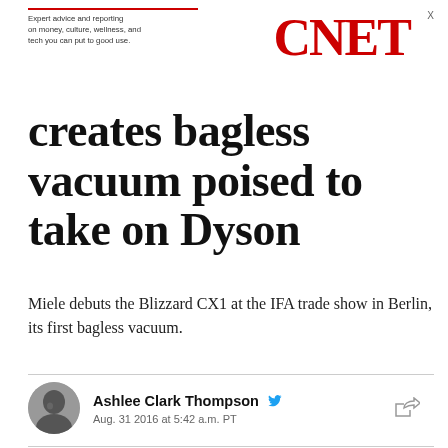[Figure (logo): CNET logo in red with tagline 'Expert advice and reporting on money, culture, wellness, and tech you can put to good use.']
creates bagless vacuum poised to take on Dyson
Miele debuts the Blizzard CX1 at the IFA trade show in Berlin, its first bagless vacuum.
Ashlee Clark Thompson
Aug. 31 2016 at 5:42 a.m. PT
[Figure (photo): Close-up photo of a hand pressing a button on a red device, with white caption text 'Miele takes a leap with its Blizzard']